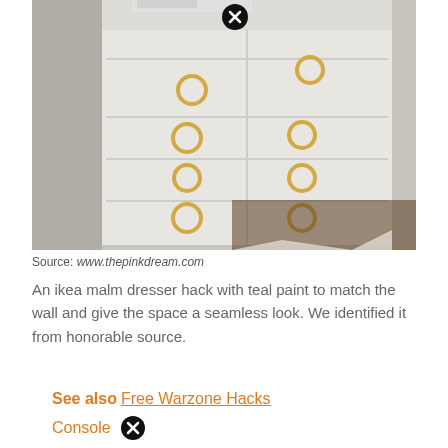[Figure (photo): A white IKEA MALM dresser with gold ring drawer pulls, photographed in a bedroom setting. A close-up shot showing multiple drawers stacked vertically with decorative gold ring handles. A close/dismiss button (X) appears in the top center.]
Source: www.thepinkdream.com
An ikea malm dresser hack with teal paint to match the wall and give the space a seamless look. We identified it from honorable source.
See also  Free Warzone Hacks Console